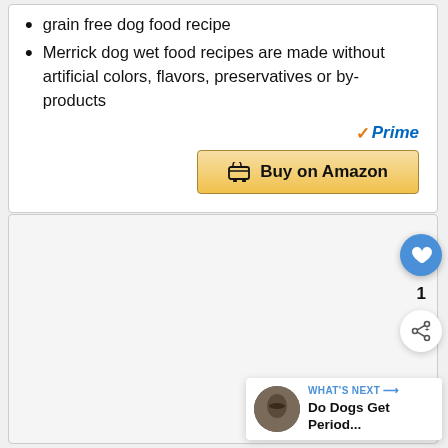grain free dog food recipe
Merrick dog wet food recipes are made without artificial colors, flavors, preservatives or by-products
[Figure (logo): Amazon Prime logo with orange checkmark and blue Prime text]
[Figure (screenshot): Buy on Amazon button with shopping cart icon, golden gradient background]
[Figure (infographic): Light gray content card area below the product listing]
[Figure (infographic): Blue circular like/heart button]
1
[Figure (infographic): White circular share button with share icon]
WHAT'S NEXT → Do Dogs Get Period...